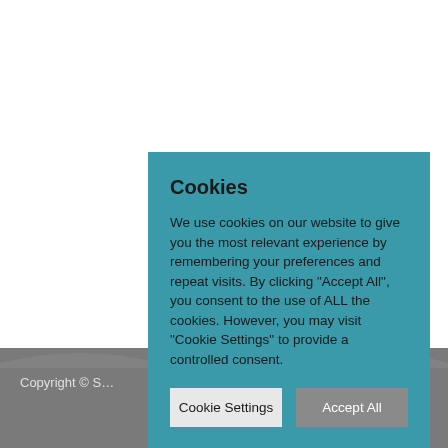[Figure (illustration): Website background with white upper area and gray wave footer area with decorative curves]
Cookies
We use cookies on our website to give you the most relevant experience by remembering your preferences and repeat visits. By clicking “Accept All”, you consent to the use of ALL the cookies. However, you may visit “Cookie Settings” to provide a controlled consent.
Cookie Settings
Accept All
Copyright © S... Reserved